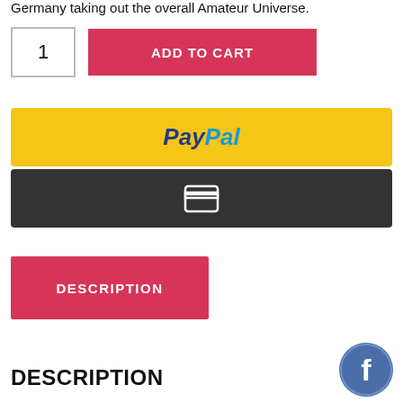Germany taking out the overall Amateur Universe.
1  ADD TO CART
[Figure (other): PayPal payment button - yellow background with PayPal logo in blue and dark blue text]
[Figure (other): Dark payment button with a credit card icon in white outline]
DESCRIPTION
DESCRIPTION
[Figure (logo): Facebook logo - circular blue icon with white 'f' letter]